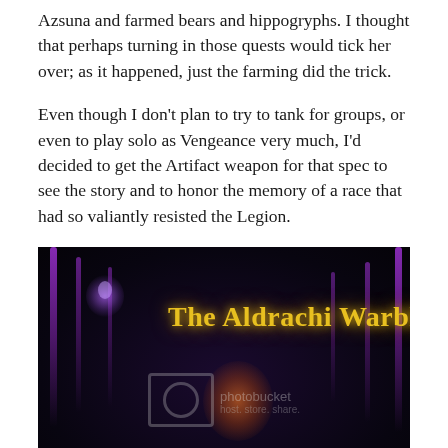Azsuna and farmed bears and hippogryphs. I thought that perhaps turning in those quests would tick her over; as it happened, just the farming did the trick.
Even though I don't plan to try to tank for groups, or even to play solo as Vengeance very much, I'd decided to get the Artifact weapon for that spec to see the story and to honor the memory of a race that had so valiantly resisted the Legion.
[Figure (screenshot): Dark fantasy game screenshot showing 'The Aldrachi Warblades' title text in gold/yellow font over a dark background with purple glowing staffs/pillars and a character silhouette. Photobucket watermark visible.]